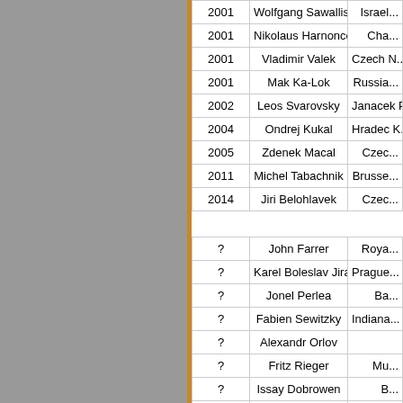| Year | Conductor | Orchestra |
| --- | --- | --- |
| 2001 | Wolfgang Sawallisch | Israel... |
| 2001 | Nikolaus Harnoncourt | Cha... |
| 2001 | Vladimir Valek | Czech N... |
| 2001 | Mak Ka-Lok | Russia... |
| 2002 | Leos Svarovsky | Janacek P... |
| 2004 | Ondrej Kukal | Hradec K... |
| 2005 | Zdenek Macal | Czec... |
| 2011 | Michel Tabachnik | Brusse... |
| 2014 | Jiri Belohlavek | Czec... |
| ? | John Farrer | Roya... |
| ? | Karel Boleslav Jirak | Prague... |
| ? | Jonel Perlea | Ba... |
| ? | Fabien Sewitzky | Indiana... |
| ? | Alexandr Orlov |  |
| ? | Fritz Rieger | Mu... |
| ? | Issay Dobrowen | B... |
| ? | Milan Horvath | O... |
| ? | Nikolai Malko | P... |
| ? | Joseph Keilberth | Ba... |
| ? | Jacques Singer | Osterre... |